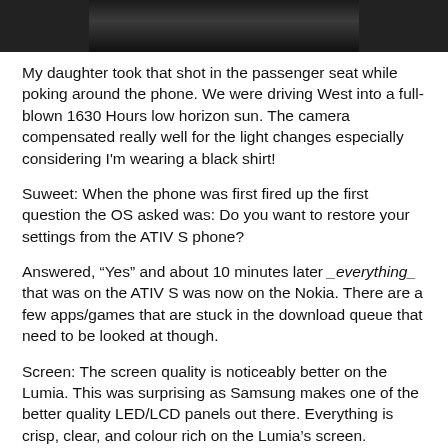[Figure (photo): Partial view of a dark photograph, likely taken from a car — showing a dark silhouette scene]
My daughter took that shot in the passenger seat while poking around the phone. We were driving West into a full-blown 1630 Hours low horizon sun. The camera compensated really well for the light changes especially considering I'm wearing a black shirt!
Suweet: When the phone was first fired up the first question the OS asked was: Do you want to restore your settings from the ATIV S phone?
Answered, "Yes" and about 10 minutes later _everything_ that was on the ATIV S was now on the Nokia. There are a few apps/games that are stuck in the download queue that need to be looked at though.
Screen: The screen quality is noticeably better on the Lumia. This was surprising as Samsung makes one of the better quality LED/LCD panels out there. Everything is crisp, clear, and colour rich on the Lumia's screen.
The screen's glass is a bit thick so it will take some getting